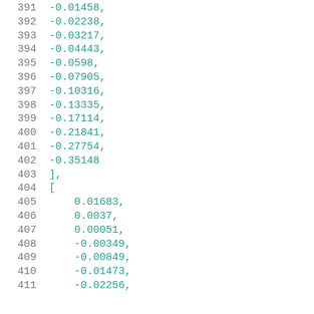391   -0.01458,
392   -0.02238,
393   -0.03217,
394   -0.04443,
395   -0.0598,
396   -0.07905,
397   -0.10316,
398   -0.13335,
399   -0.17114,
400   -0.21841,
401   -0.27754,
402   -0.35148
403   ],
404   [
405   0.01683,
406   0.0037,
407   0.00051,
408   -0.00349,
409   -0.00849,
410   -0.01473,
411   -0.02256,